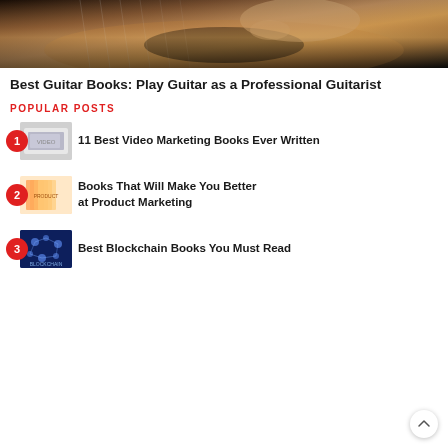[Figure (photo): Hands playing an acoustic guitar, close-up shot]
Best Guitar Books: Play Guitar as a Professional Guitarist
POPULAR POSTS
11 Best Video Marketing Books Ever Written
Books That Will Make You Better at Product Marketing
Best Blockchain Books You Must Read